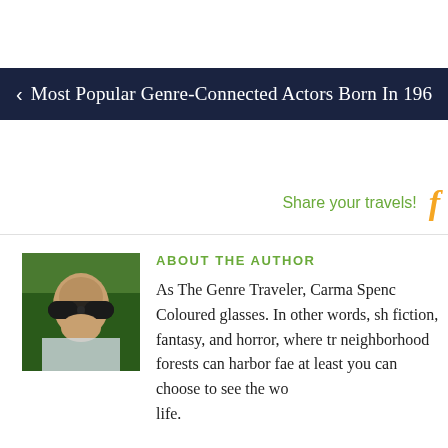< Most Popular Genre-Connected Actors Born In 196
Share your travels!
ABOUT THE AUTHOR
[Figure (photo): Author photo: person wearing large sunglasses, photographed outdoors with green background]
As The Genre Traveler, Carma Spenc Coloured glasses. In other words, sh fiction, fantasy, and horror, where tr neighborhood forests can harbor fae at least you can choose to see the wo life.